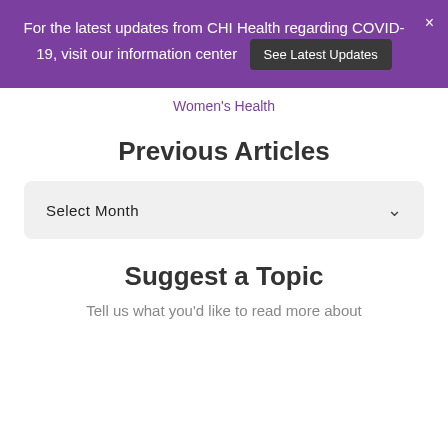For the latest updates from CHI Health regarding COVID-19, visit our information center  See Latest Updates  ×
Women's Health
Previous Articles
Select Month
Suggest a Topic
Tell us what you'd like to read more about